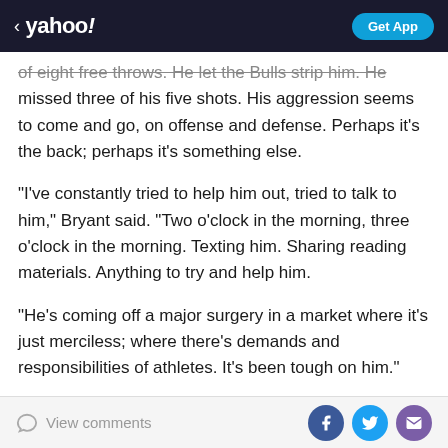< yahoo! | Get App
of eight free throws. He let the Bulls strip him. He missed three of his five shots. His aggression seems to come and go, on offense and defense. Perhaps it's the back; perhaps it's something else.
"I've constantly tried to help him out, tried to talk to him," Bryant said. "Two o'clock in the morning, three o'clock in the morning. Texting him. Sharing reading materials. Anything to try and help him.
"He's coming off a major surgery in a market where it's just merciless; where there's demands and responsibilities of athletes. It's been tough on him."
[Also: Vince Carter wants Hall of Fame consideration]
View comments